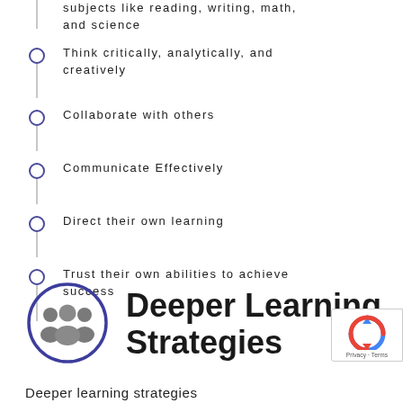subjects like reading, writing, math, and science
Think critically, analytically, and creatively
Collaborate with others
Communicate Effectively
Direct their own learning
Trust their own abilities to achieve success
Deeper Learning Strategies
Deeper learning strategies